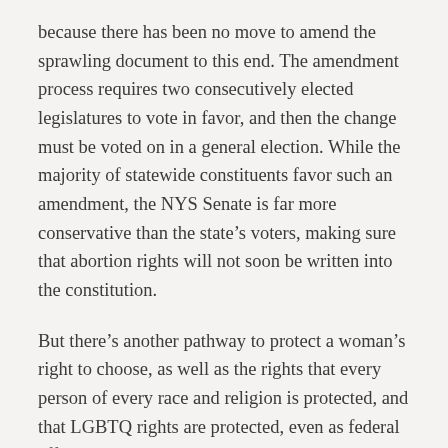because there has been no move to amend the sprawling document to this end. The amendment process requires two consecutively elected legislatures to vote in favor, and then the change must be voted on in a general election. While the majority of statewide constituents favor such an amendment, the NYS Senate is far more conservative than the state's voters, making sure that abortion rights will not soon be written into the constitution.
But there's another pathway to protect a woman's right to choose, as well as the rights that every person of every race and religion is protected, and that LGBTQ rights are protected, even as federal efforts are actively underway to undermine them both by employers and in the military.